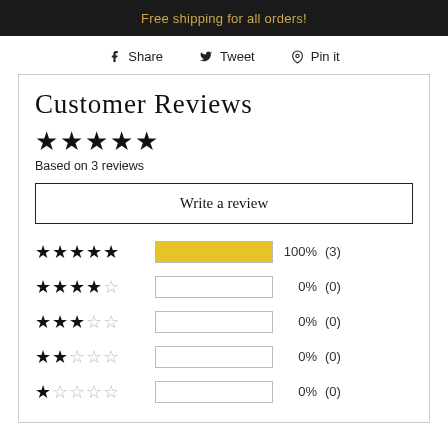Free shipping for all orders!
Share   Tweet   Pin it
Customer Reviews
★★★★★
Based on 3 reviews
Write a review
| Stars | Bar | Percent | Count |
| --- | --- | --- | --- |
| ★★★★★ | 100% | 100% | (3) |
| ★★★★☆ |  | 0% | (0) |
| ★★★☆☆ |  | 0% | (0) |
| ★★☆☆☆ |  | 0% | (0) |
| ★☆☆☆☆ |  | 0% | (0) |